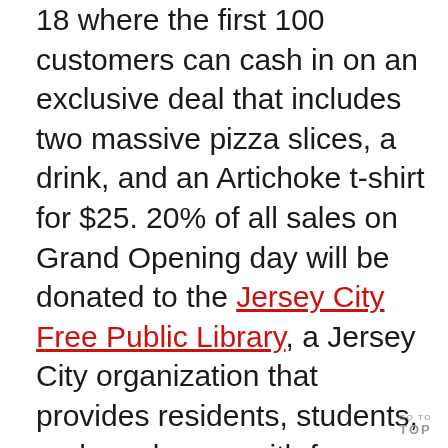18 where the first 100 customers can cash in on an exclusive deal that includes two massive pizza slices, a drink, and an Artichoke t-shirt for $25. 20% of all sales on Grand Opening day will be donated to the Jersey City Free Public Library, a Jersey City organization that provides residents, students, and employees with free community resources and programs as well as access to their expansive collections.
GO TO TOP